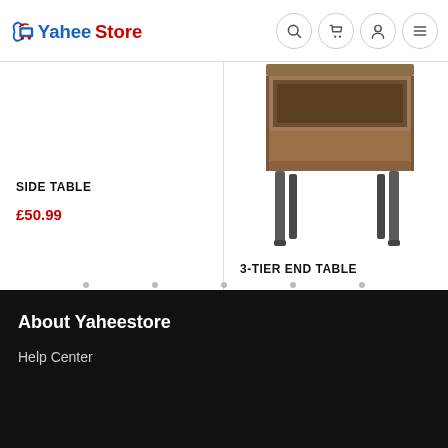YaheeStore — navigation header with search, cart, account, menu icons
SIDE TABLE
£50.99
[Figure (photo): Wooden 3-tier end table with grey metal legs and an open shelf compartment]
3-TIER END TABLE
£45.99
About Yaheestore
Help Center